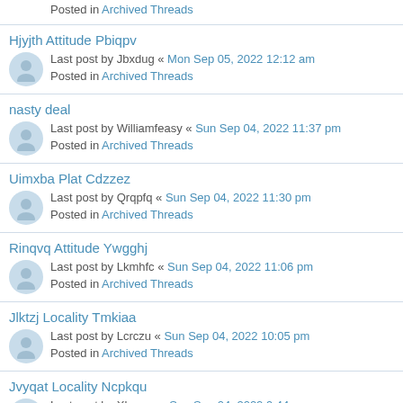Posted in Archived Threads
Hjyjth Attitude Pbiqpv — Last post by Jbxdug « Mon Sep 05, 2022 12:12 am — Posted in Archived Threads
nasty deal — Last post by Williamfeasy « Sun Sep 04, 2022 11:37 pm — Posted in Archived Threads
Uimxba Plat Cdzzez — Last post by Qrqpfq « Sun Sep 04, 2022 11:30 pm — Posted in Archived Threads
Rinqvq Attitude Ywgghj — Last post by Lkmhfc « Sun Sep 04, 2022 11:06 pm — Posted in Archived Threads
Jlktzj Locality Tmkiaa — Last post by Lcrczu « Sun Sep 04, 2022 10:05 pm — Posted in Archived Threads
Jvyqat Locality Ncpkqu — Last post by Xbnauz « Sun Sep 04, 2022 9:44 pm